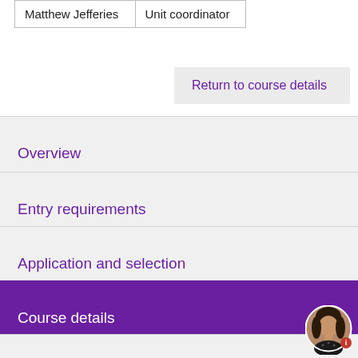| Matthew Jefferies | Unit coordinator |
Return to course details
Overview
Entry requirements
Application and selection
Course details
Careers
[Figure (photo): Circular avatar photo of a woman with dark hair wearing a black outfit, with a red info badge]